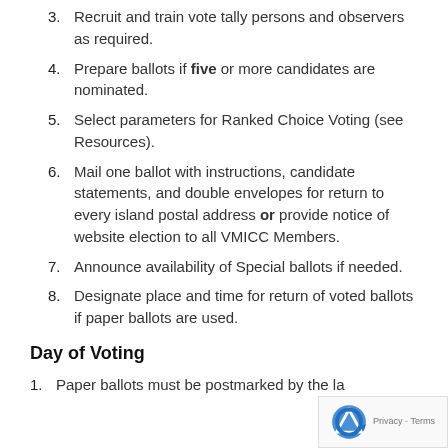3. Recruit and train vote tally persons and observers as required.
4. Prepare ballots if five or more candidates are nominated.
5. Select parameters for Ranked Choice Voting (see Resources).
6. Mail one ballot with instructions, candidate statements, and double envelopes for return to every island postal address or provide notice of website election to all VMICC Members.
7. Announce availability of Special ballots if needed.
8. Designate place and time for return of voted ballots if paper ballots are used.
Day of Voting
1. Paper ballots must be postmarked by the la...